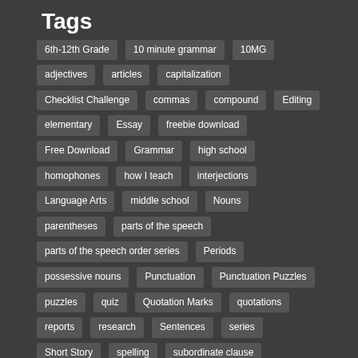Tags
6th-12th Grade
10 minute grammar
10MG
adjectives
articles
capitalization
Checklist Challenge
commas
compound
Editing
elementary
Essay
freebie download
Free Download
Grammar
high school
homophones
how I teach
interjections
Language Arts
middle school
Nouns
parentheses
parts of the speech
parts of the speech order series
Periods
possessive nouns
Punctuation
Punctuation Puzzles
puzzles
quiz
Quotation Marks
quotations
reports
research
Sentences
series
Short Story
spelling
subordinate clause
ten minute grammar
Verbs
wacky words
Which Clauses
Writing